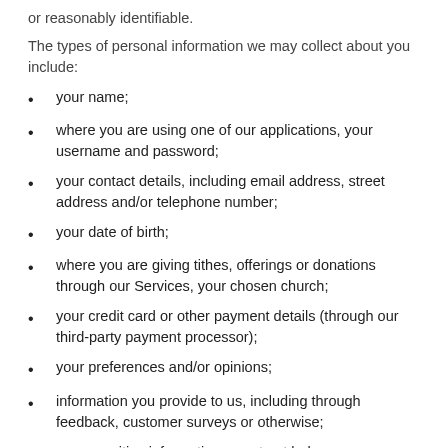or reasonably identifiable.
The types of personal information we may collect about you include:
your name;
where you are using one of our applications, your username and password;
your contact details, including email address, street address and/or telephone number;
your date of birth;
where you are giving tithes, offerings or donations through our Services, your chosen church;
your credit card or other payment details (through our third-party payment processor);
your preferences and/or opinions;
information you provide to us, including through feedback, customer surveys or otherwise;
your sensitive information as set out below;
your browser session and geo-location data, device and network information, statistics on page views and sessions, acquisition